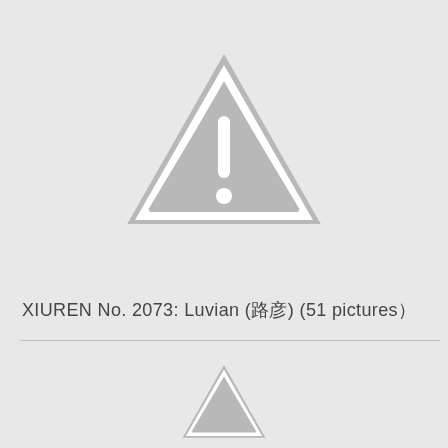[Figure (illustration): Gray warning triangle icon with exclamation mark, partially visible at top]
XIUREN No. 2073: Luvian (路彦) (51 pictures）
[Figure (illustration): Gray warning triangle icon, partially visible at bottom]